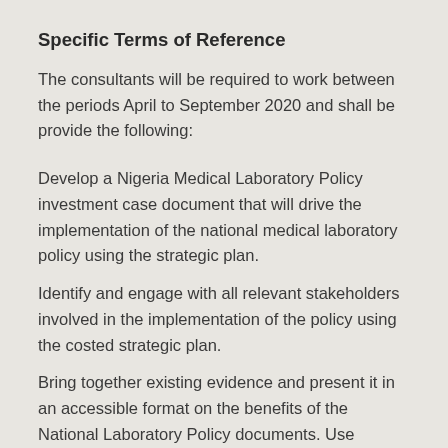Specific Terms of Reference
The consultants will be required to work between the periods April to September 2020 and shall be provide the following:
Develop a Nigeria Medical Laboratory Policy investment case document that will drive the implementation of the national medical laboratory policy using the strategic plan.
Identify and engage with all relevant stakeholders involved in the implementation of the policy using the costed strategic plan.
Bring together existing evidence and present it in an accessible format on the benefits of the National Laboratory Policy documents. Use systematic methods